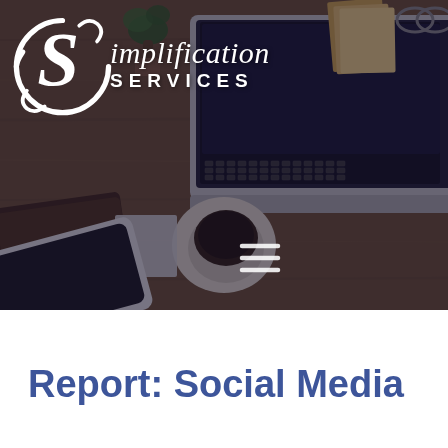[Figure (photo): Cover page photo showing a desk scene from above with a laptop, coffee cup, tablet/phone, wallet, sticky note, and plant on a wooden surface, with a dark overlay. The Simplification Services logo is overlaid in white in the top-left area, and a hamburger menu icon is visible in the center.]
Report: Social Media